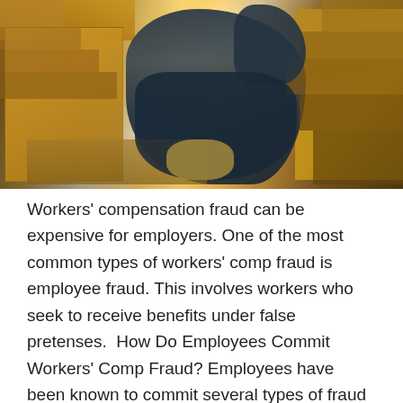[Figure (photo): A male warehouse worker in a plaid shirt and overalls bending over and holding his lower back in pain, surrounded by cardboard boxes and wooden pallets in a warehouse setting with warm backlighting.]
Workers' compensation fraud can be expensive for employers. One of the most common types of workers' comp fraud is employee fraud. This involves workers who seek to receive benefits under false pretenses.  How Do Employees Commit Workers' Comp Fraud? Employees have been known to commit several types of fraud to obtain workers' compensation, including: Off-the-job injury: An employee is injured on his own time, but